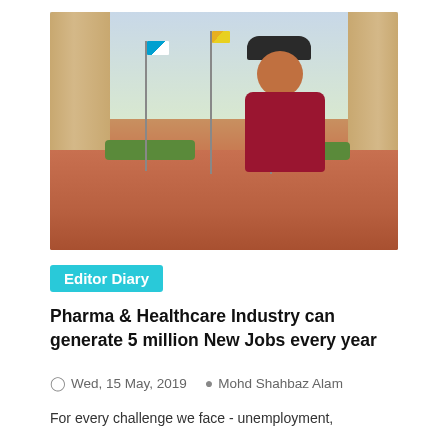[Figure (photo): Man in red polo shirt and black fedora hat standing with arms crossed at India Gate, New Delhi, with flagpoles and sandstone pillars visible in the background.]
Editor Diary
Pharma & Healthcare Industry can generate 5 million New Jobs every year
Wed, 15 May, 2019   Mohd Shahbaz Alam
For every challenge we face - unemployment,